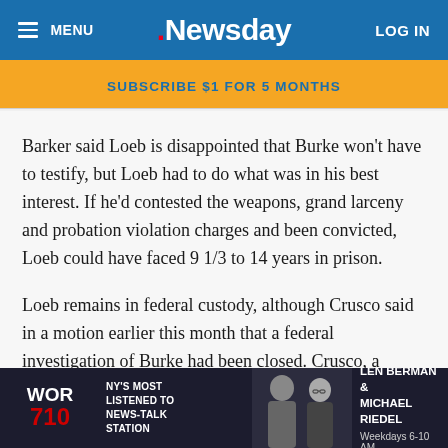MENU | Newsday | LOG IN
SUBSCRIBE $1 FOR 5 MONTHS
Barker said Loeb is disappointed that Burke won't have to testify, but Loeb had to do what was in his best interest. If he'd contested the weapons, grand larceny and probation violation charges and been convicted, Loeb could have faced 9 1/3 to 14 years in prison.
Loeb remains in federal custody, although Crusco said in a motion earlier this month that a federal investigation of Burke had been closed. Crusco, a Queens assistant district attorney, was appointed because of Burke's close ties to Suffolk District Attorney Thomas Spota. Federal officials have c[ontinued...]
[Figure (advertisement): WOR 710 radio station advertisement featuring NY's Most Listened To News-Talk Station and Len Berman & Michael Riedel, Weekdays 6-10 AM]